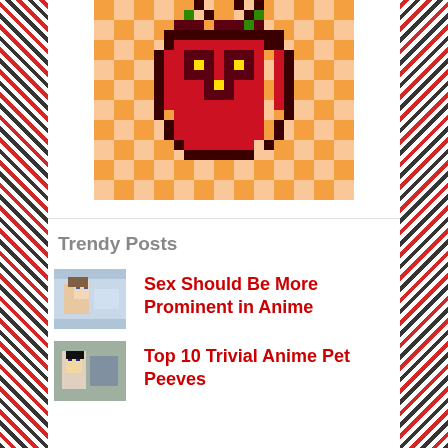[Figure (illustration): Pixel art of a cherry character with yellow eyes on an orange checkered background]
Trendy Posts
[Figure (photo): Anime thumbnail for 'Sex Should Be More Prominent in Anime']
Sex Should Be More Prominent in Anime
[Figure (photo): Anime thumbnail for 'Top 10 Trivial Anime Pet Peeves']
Top 10 Trivial Anime Pet Peeves